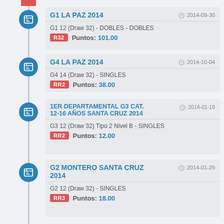G1 LA PAZ 2014 | 2014-09-30 | G1 12 (Draw 32) - DOBLES - DOBLES | R32 | Puntos: 101.00
G4 LA PAZ 2014 | 2014-10-04 | G4 14 (Draw 32) - SINGLES | RR2 | Puntos: 38.00
1ER DEPARTAMENTAL G3 CAT. 12-16 AÑOS SANTA CRUZ 2014 | 2014-01-18 | G3 12 (Draw 32) Tipo 2 Nivel B - SINGLES | RR2 | Puntos: 12.00
G2 MONTERO SANTA CRUZ 2014 | 2014-01-29 | G2 12 (Draw 32) - SINGLES | RR3 | Puntos: 18.00